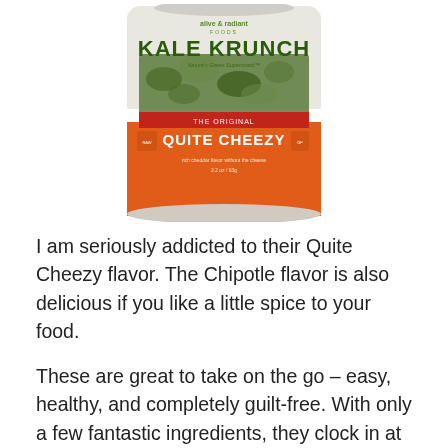[Figure (photo): Product photo of 'Alive & Radiant Foods Kale Krunch - The Original Quite Cheezy' flavor snack bag. The bag has a green top with the brand name in large letters and an orange lower section with the flavor name. The bag contains dried kale chips.]
I am seriously addicted to their Quite Cheezy flavor. The Chipotle flavor is also delicious if you like a little spice to your food.
These are great to take on the go – easy, healthy, and completely guilt-free. With only a few fantastic ingredients, they clock in at 100 calories, 4g of protein per serving, and 7g of fat (1.5g saturated). Sodium is higher than I'd like at